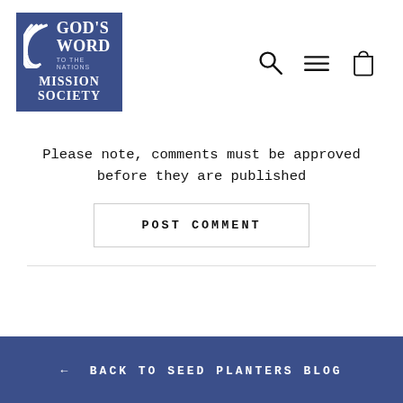[Figure (logo): God's Word to the Nations Mission Society logo — blue square with swoosh graphic and white text]
Please note, comments must be approved before they are published
POST COMMENT
← BACK TO SEED PLANTERS BLOG